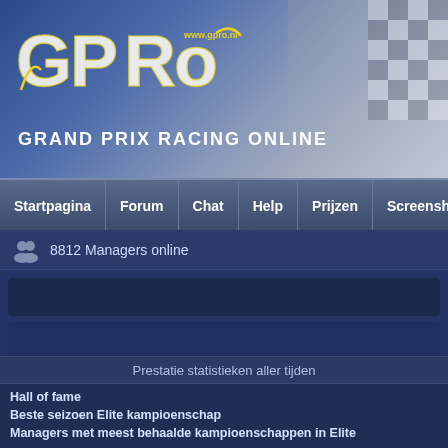[Figure (logo): GPRO Grand Prix Racing Online logo with yellow and white stylized text on blue-grey gradient header background with checkered flag pattern on right]
GRAND PRIX RACING ONLINE
Startpagina | Forum | Chat | Help | Prijzen | Screenshots | Ove...
8812 Managers online
Prestatie statistieken aller tijden
Hall of fame
Beste seizoen Elite kampioenschap
Managers met meest behaalde kampioenschappen in Elite
Beste managers (meeste wedstrijden)
Beste managers (meeste overwinningen)
Beste managers (meeste poles)
Beste managers (aantal punten)